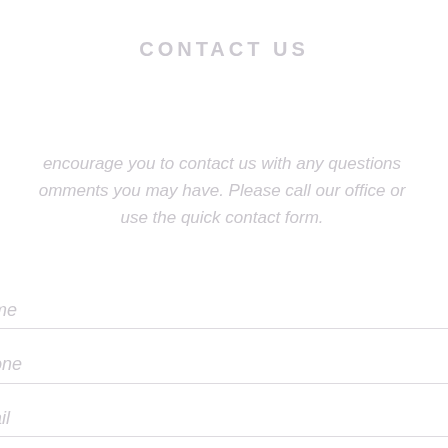CONTACT US
encourage you to contact us with any questions omments you may have. Please call our office or use the quick contact form.
me
one
ail
essage